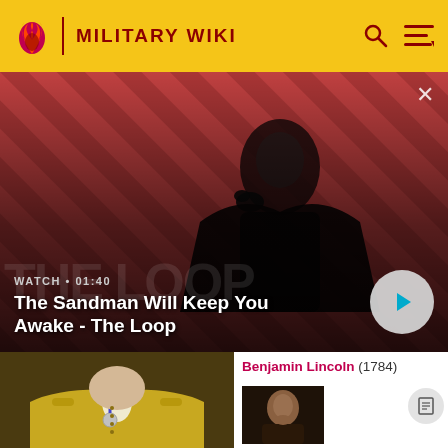MILITARY WIKI
[Figure (screenshot): Video banner showing a dark figure in a cape with a raven on shoulder, against a red diagonal striped background. Title reads: The Sandman Will Keep You Awake - The Loop. WATCH • 01:40]
WATCH • 01:40
The Sandman Will Keep You Awake - The Loop
[Figure (photo): Portrait of Benjamin Lincoln in military uniform with yellow coat and medals]
Benjamin Lincoln (1784)
[Figure (photo): Dark portrait of a man with hand near chin]